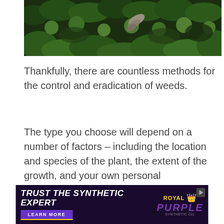[Figure (photo): Close-up photo of green leafy plants and weeds with a stone or wooden tool resting among them, dark background foliage]
Thankfully, there are countless methods for the control and eradication of weeds.
The type you choose will depend on a number of factors – including the location and species of the plant, the extent of the growth, and your own personal preferences.
[Figure (other): Advertisement banner: 'TRUST THE SYNTHETIC EXPERT' with 'LEARN MORE' button and Royal Purple logo]